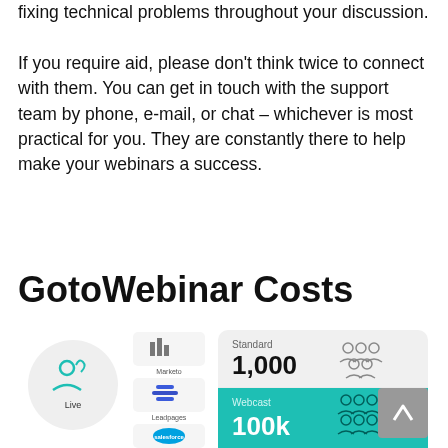fixing technical problems throughout your discussion. If you require aid, please don't think twice to connect with them. You can get in touch with the support team by phone, e-mail, or chat – whichever is most practical for you. They are constantly there to help make your webinars a success.
GotoWebinar Costs
[Figure (screenshot): Screenshot showing GotoWebinar pricing interface with a Live webinar circle icon, integration logos (Marketo, Leadpages, Salesforce), and pricing cards showing Standard 1,000 attendees and Webcast 100k attendees plans, plus a scroll-to-top button.]